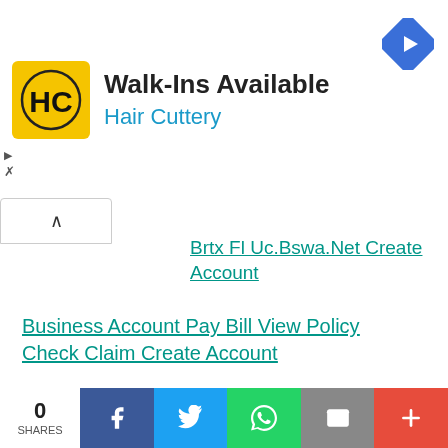[Figure (screenshot): Hair Cuttery advertisement banner with yellow HC logo, 'Walk-Ins Available' headline, 'Hair Cuttery' subtitle in blue, and blue navigation arrow icon top right. Small play/close controls on left side.]
Brtx Fl Uc.Bswa.Net Create Account
Business Account Pay Bill View Policy Check Claim Create Account
KodakCaptureProSerial    TOP__Crack
Download ->>> https://blltly.com/2padan     Download ->>> https://blltly.com/2padan
KodakCaptureProSerialCrack  kodakcaptureproserial.
[Figure (screenshot): Social share bar at bottom: 0 SHARES, Facebook, Twitter, WhatsApp, Email, and More (+) buttons]